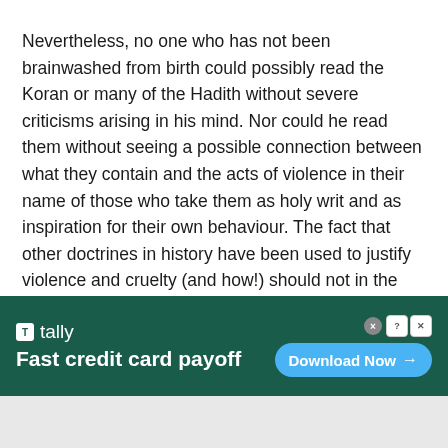Nevertheless, no one who has not been brainwashed from birth could possibly read the Koran or many of the Hadith without severe criticisms arising in his mind. Nor could he read them without seeing a possible connection between what they contain and the acts of violence in their name of those who take them as holy writ and as inspiration for their own behaviour. The fact that other doctrines in history have been used to justify violence and cruelty (and how!) should not in the least be used as a pretext for protecting Islam from criticism. Tu quoque is not a defence against wrongdoing.
[Figure (infographic): Advertisement banner for Tally app with dark green background. Left side shows Tally logo (small white box with 'T' and 'tally' text) and tagline 'Fast credit card payoff'. Right side shows a 'Download Now' button with arrow on light blue background. Top right corner has close (X) and info (?) icons.]